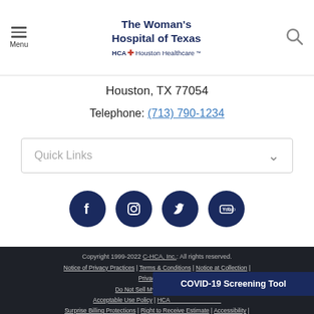Menu | The Woman's Hospital of Texas | HCA Houston Healthcare
Houston, TX 77054
Telephone: (713) 790-1234
Quick Links
[Figure (illustration): Four social media icon circles: Facebook, Instagram, Twitter, YouTube]
Copyright 1999-2022 C-HCA, Inc.: All rights reserved. Notice of Privacy Practices | Terms & Conditions | Notice at Collection | Privacy Policy | Do Not Sell My Personal Information | Acceptable Use Policy | HCA... | Surprise Billing Protections | Right to Receive Estimate | Accessibility |
COVID-19 Screening Tool